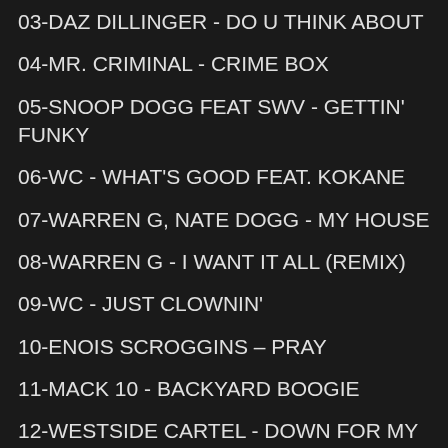03-DAZ DILLINGER - DO U THINK ABOUT
04-MR. CRIMINAL - CRIME BOX
05-SNOOP DOGG FEAT SWV  - GETTIN' FUNKY
06-WC - WHAT'S GOOD FEAT. KOKANE
07-WARREN G, NATE DOGG - MY HOUSE
08-WARREN G  - I WANT IT ALL (REMIX)
09-WC - JUST CLOWNIN'
10-ENOIS SCROGGINS – PRAY
11-MACK 10 - BACKYARD BOOGIE
12-WESTSIDE CARTEL - DOWN FOR MY CLICK
13-QUINCY JONES, SNOOP DOGG - GET THE FUNK OUT OF MY FACE
14-PARIS - GUERRILLA FUNK